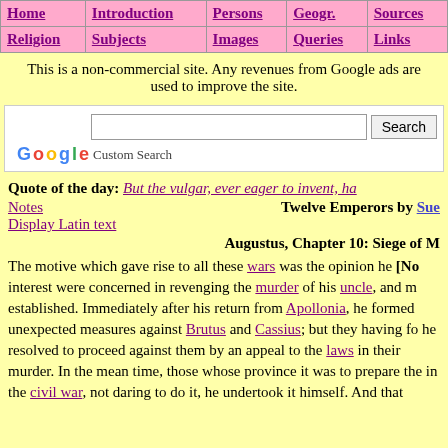Home | Introduction | Persons | Geogr. | Sources | Religion | Subjects | Images | Queries | Links
This is a non-commercial site. Any revenues from Google ads are used to improve the site.
[Figure (screenshot): Google Custom Search box with text input and Search button]
Quote of the day: But the vulgar, ever eager to invent, ha
Notes    Twelve Emperors by Sue
Display Latin text
Augustus, Chapter 10: Siege of M
The motive which gave rise to all these wars was the opinion he [No interest were concerned in revenging the murder of his uncle, and m established. Immediately after his return from Apollonia, he formed unexpected measures against Brutus and Cassius; but they having fo he resolved to proceed against them by an appeal to the laws in their murder. In the mean time, those whose province it was to prepare the in the civil war, not daring to do it, he undertook it himself. And that